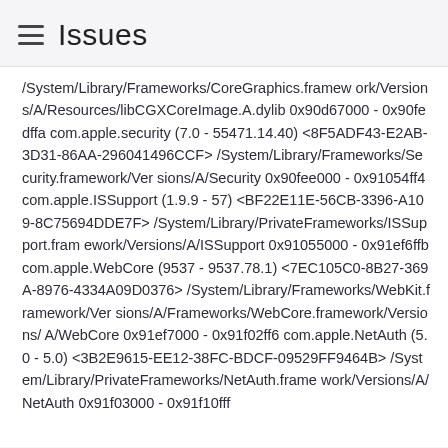Issues
/System/Library/Frameworks/CoreGraphics.framework/Versions/A/Resources/libCGXCoreImage.A.dylib 0x90d67000 - 0x90fedffa com.apple.security (7.0 - 55471.14.40) <8F5ADF43-E2AB-3D31-86AA-296041496CCF> /System/Library/Frameworks/Security.framework/Versions/A/Security 0x90fee000 - 0x91054ff4 com.apple.ISSupport (1.9.9 - 57) <BF22E11E-56CB-3396-A109-8C75694DDE7F> /System/Library/PrivateFrameworks/ISSupport.framework/Versions/A/ISSupport 0x91055000 - 0x91ef6ffb com.apple.WebCore (9537 - 9537.78.1) <7EC105C0-8B27-369A-8976-4334A09D0376> /System/Library/Frameworks/WebKit.framework/Versions/A/Frameworks/WebCore.framework/Versions/A/WebCore 0x91ef7000 - 0x91f02ff6 com.apple.NetAuth (5.0 - 5.0) <3B2E9615-EE12-38FC-BDCF-09529FF9464B> /System/Library/PrivateFrameworks/NetAuth.framework/Versions/A/NetAuth 0x91f03000 - 0x91f10fff